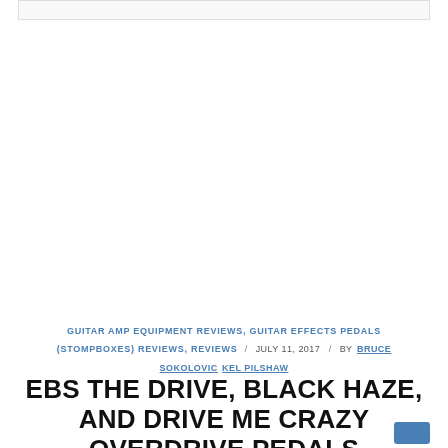[Figure (other): Gray top bar / banner placeholder at the top of the page]
GUITAR AMP EQUIPMENT REVIEWS, GUITAR EFFECTS PEDALS (STOMPBOXES) REVIEWS, REVIEWS / JULY 11, 2017 / BY BRUCE SOKOLOVIC KEL PILSHAW
EBS THE DRIVE, BLACK HAZE, AND DRIVE ME CRAZY OVERDRIVE PEDALS